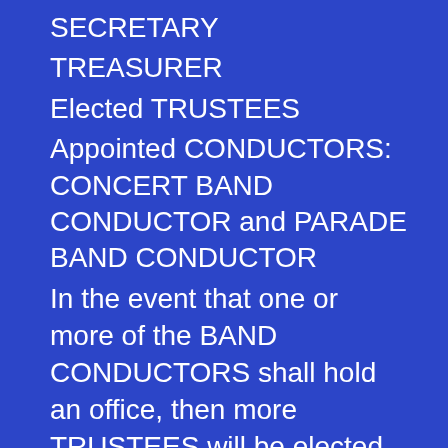SECRETARY
TREASURER
Elected TRUSTEES
Appointed CONDUCTORS: CONCERT BAND CONDUCTOR and PARADE BAND CONDUCTOR
In the event that one or more of the BAND CONDUCTORS shall hold an office, then more TRUSTEES will be elected for that period of time, so that the total number of the EXECUTIVE COMMITTEE will be nine voting MEMBERS.
B. The EXECUTIVE COMMITTEE